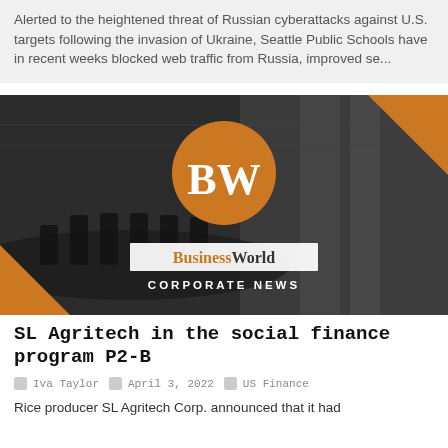Alerted to the heightened threat of Russian cyberattacks against U.S. targets following the invasion of Ukraine, Seattle Public Schools have in recent weeks blocked web traffic from Russia, improved se...
[Figure (logo): BusinessWorld Corporate News banner image with BW logo circle in orange, boardroom background, orange corner triangles, and BusinessWorld CORPORATE NEWS text overlay]
SL Agritech in the social finance program P2-B
Iva Taylor  April 3, 2022  US Finance
Rice producer SL Agritech Corp. announced that it had